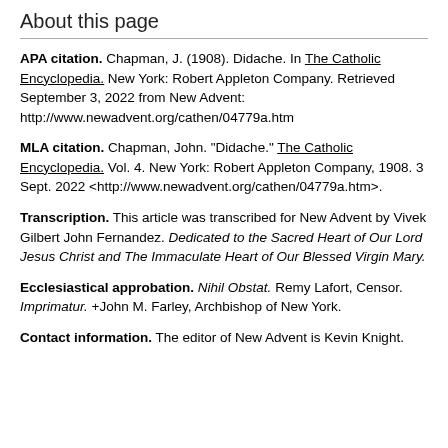About this page
APA citation. Chapman, J. (1908). Didache. In The Catholic Encyclopedia. New York: Robert Appleton Company. Retrieved September 3, 2022 from New Advent: http://www.newadvent.org/cathen/04779a.htm
MLA citation. Chapman, John. "Didache." The Catholic Encyclopedia. Vol. 4. New York: Robert Appleton Company, 1908. 3 Sept. 2022 <http://www.newadvent.org/cathen/04779a.htm>.
Transcription. This article was transcribed for New Advent by Vivek Gilbert John Fernandez. Dedicated to the Sacred Heart of Our Lord Jesus Christ and The Immaculate Heart of Our Blessed Virgin Mary.
Ecclesiastical approbation. Nihil Obstat. Remy Lafort, Censor. Imprimatur. +John M. Farley, Archbishop of New York.
Contact information. The editor of New Advent is Kevin Knight.